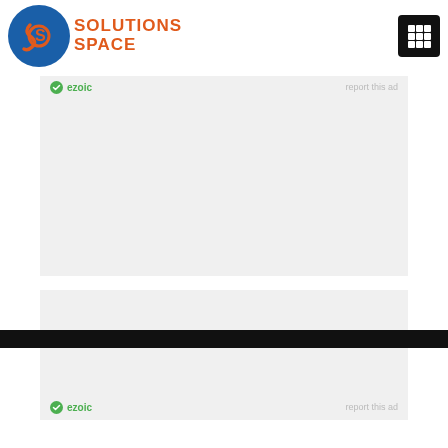[Figure (logo): Solutions Space logo: circular blue icon with orange S letter and orange text reading SOLUTIONS SPACE]
[Figure (screenshot): Ezoic ad placeholder block with ezoic branding and report this ad link at top]
[Figure (screenshot): Ezoic ad placeholder block with ezoic branding and report this ad link at bottom]
[Figure (other): Dark/black horizontal footer bar]